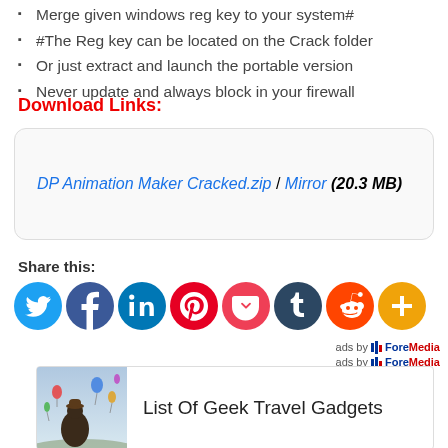Merge given windows reg key to your system#
#The Reg key can be located on the Crack folder
Or just extract and launch the portable version
Never update and always block in your firewall
Download Links:
DP Animation Maker Cracked.zip / Mirror (20.3 MB)
Share this:
[Figure (infographic): Social share buttons: Twitter, Facebook, LinkedIn, Pinterest, Pocket, Tumblr, Reddit, More]
ads by ForeMedia
ads by ForeMedia
List Of Geek Travel Gadgets